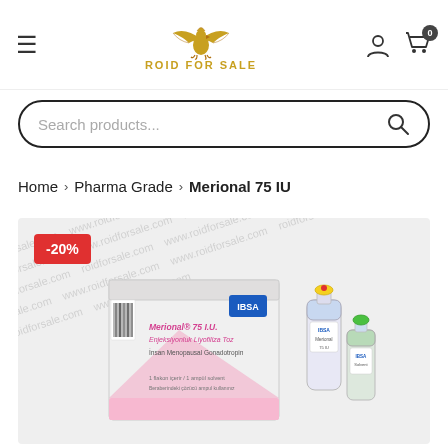[Figure (logo): Roid For Sale eagle logo with golden text 'ROID FOR SALE']
Search products...
Home > Pharma Grade > Merional 75 IU
[Figure (photo): Product photo of Merional 75 IU box with two vials, watermarked with www.roidforsale.com. Red badge showing -20% discount.]